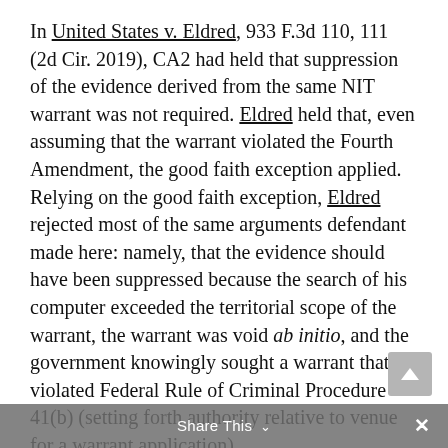In United States v. Eldred, 933 F.3d 110, 111 (2d Cir. 2019), CA2 had held that suppression of the evidence derived from the same NIT warrant was not required. Eldred held that, even assuming that the warrant violated the Fourth Amendment, the good faith exception applied. Relying on the good faith exception, Eldred rejected most of the same arguments defendant made here: namely, that the evidence should have been suppressed because the search of his computer exceeded the territorial scope of the warrant, the warrant was void ab initio, and the government knowingly sought a warrant that violated Federal Rule of Criminal Procedure 41(b) (setting forth authority relative to venue for a warrant application).
CA2 rejected defendant's attempts to press arguments that he claimed were not foreclosed by